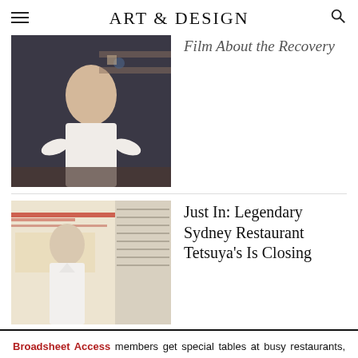ART & DESIGN
[Figure (photo): Man in white shirt gesturing with hands, seated at a dark table, indoor setting with shelves in background]
Film About the Recovery
[Figure (photo): Chef in white chef coat standing in front of an abstract painting with red and cream tones, beside window blinds]
Just In: Legendary Sydney Restaurant Tetsuya's Is Closing
Broadsheet Access members get special tables at busy restaurants, tickets to exclusive events and discounts on food, coffee, brand offers and more.
FIND OUT MORE